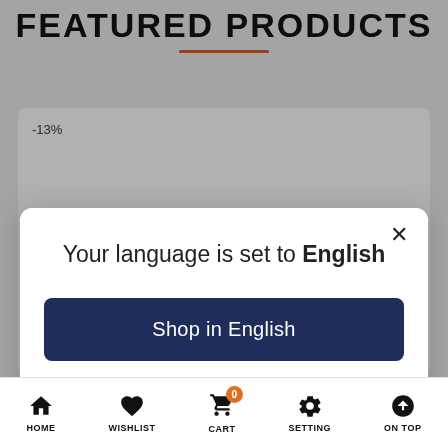FEATURED PRODUCTS
-13%
[Figure (screenshot): Language selection modal dialog with close button (X), message 'Your language is set to English', a dark navy 'Shop in English' button, and a 'Change language' underlined link]
HOME  WISHLIST  CART  SETTING  ON TOP